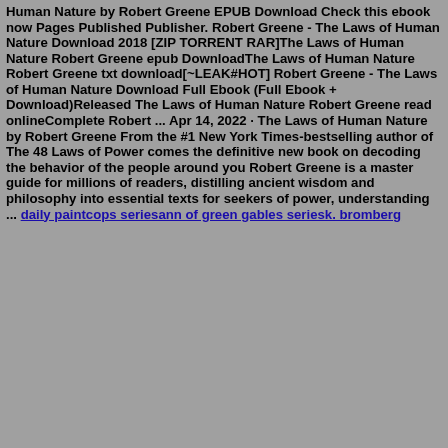Human Nature by Robert Greene EPUB Download Check this ebook now Pages Published Publisher. Robert Greene - The Laws of Human Nature Download 2018 [ZIP TORRENT RAR]The Laws of Human Nature Robert Greene epub DownloadThe Laws of Human Nature Robert Greene txt download[~LEAK#HOT] Robert Greene - The Laws of Human Nature Download Full Ebook (Full Ebook + Download)Released The Laws of Human Nature Robert Greene read onlineComplete Robert ... Apr 14, 2022 · The Laws of Human Nature by Robert Greene From the #1 New York Times-bestselling author of The 48 Laws of Power comes the definitive new book on decoding the behavior of the people around you Robert Greene is a master guide for millions of readers, distilling ancient wisdom and philosophy into essential texts for seekers of power, understanding ... daily paintcops seriesann of green gables seriesk. bromberg